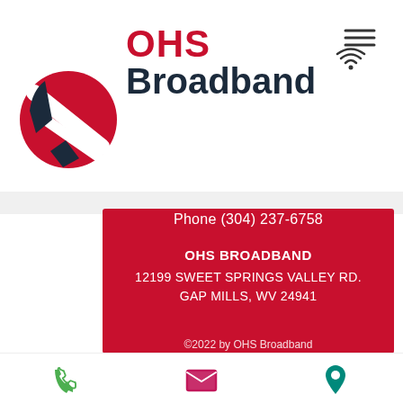[Figure (logo): OHS Broadband logo: red circle with white diagonal stripes and dark navy accents, with OHS text in red and Broadband in dark navy, wifi signal icon, and hamburger menu icon in top right]
Phone (304) 237-6758
OHS BROADBAND
12199 SWEET SPRINGS VALLEY RD.
GAP MILLS, WV 24941
©2022 by OHS Broadband
[Figure (illustration): Bottom navigation bar with three icons: green phone icon, pink/magenta envelope icon, and teal/green location pin icon]